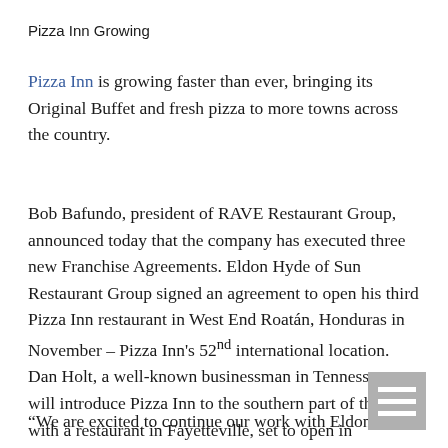Pizza Inn Growing
Pizza Inn is growing faster than ever, bringing its Original Buffet and fresh pizza to more towns across the country.
Bob Bafundo, president of RAVE Restaurant Group, announced today that the company has executed three new Franchise Agreements. Eldon Hyde of Sun Restaurant Group signed an agreement to open his third Pizza Inn restaurant in West End Roatán, Honduras in November – Pizza Inn's 52nd international location. Dan Holt, a well-known businessman in Tennessee, will introduce Pizza Inn to the southern part of the state with a restaurant in Fayetteville, set to open in December. The third, Peter Solanki, signed an agreement to bring Pizza Inn to Vale, N.C.
“We are excited to continue our work with Eldon and to
[Figure (other): Menu/hamburger icon: three horizontal white bars on a grey square background]